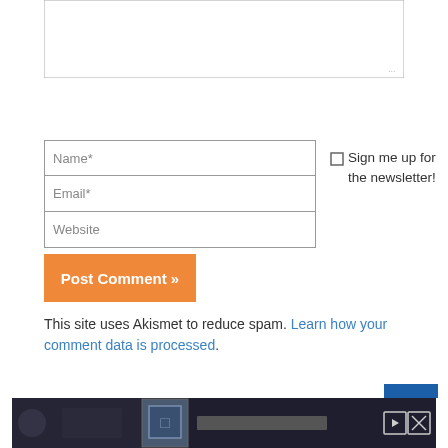[Figure (screenshot): Comment form textarea (top portion visible), showing a resizable text input box]
Name*
Email*
Website
Post Comment »
Sign me up for the newsletter!
This site uses Akismet to reduce spam. Learn how your comment data is processed.
[Figure (screenshot): Advertisement banner at the bottom of the page with video player controls]